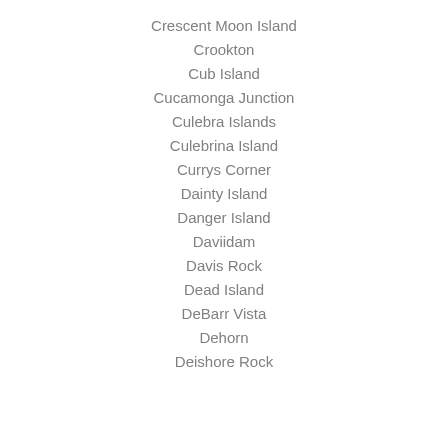Crescent Moon Island
Crookton
Cub Island
Cucamonga Junction
Culebra Islands
Culebrina Island
Currys Corner
Dainty Island
Danger Island
Daviidam
Davis Rock
Dead Island
DeBarr Vista
Dehorn
Deishore Rock